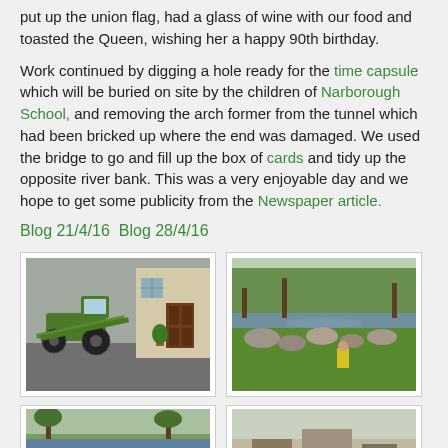put up the union flag, had a glass of wine with our food and toasted the Queen, wishing her a happy 90th birthday.
Work continued by digging a hole ready for the time capsule which will be buried on site by the children of Narborough School, and removing the arch former from the tunnel which had been bricked up where the end was damaged. We used the bridge to go and fill up the box of cards and tidy up the opposite river bank. This was a very enjoyable day and we hope to get some publicity from the Newspaper article.
Blog 21/4/16  Blog 28/4/16
[Figure (photo): A tractor with metal ramps/planks extended from it, parked in front of a building with brown doors.]
[Figure (photo): A grassy riverbank scene with stones and rocks visible along the water's edge, with trees in the background.]
[Figure (photo): A riverbank or garden scene with green vegetation, partially visible at page bottom.]
[Figure (photo): An outdoor scene with equipment or structures, partially visible at page bottom.]